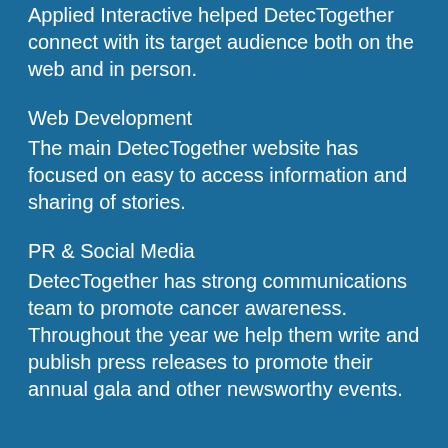Applied Interactive helped DetecTogether connect with its target audience both on the web and in person.
Web Development
The main DetecTogether website has focused on easy to access information and sharing of stories.
PR & Social Media
DetecTogether has strong communications team to promote cancer awareness.  Throughout the year we help them write and publish press releases to promote their annual gala and other newsworthy events.